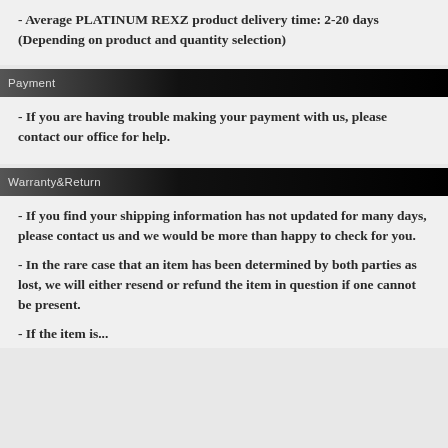- Average PLATINUM REXZ product delivery time: 2-20 days (Depending on product and quantity selection)
Payment
- If you are having trouble making your payment with us, please contact our office for help.
Warranty&Return
- If you find your shipping information has not updated for many days, please contact us and we would be more than happy to check for you.
- In the rare case that an item has been determined by both parties as lost, we will either resend or refund the item in question if one cannot be present.
- If the item is...